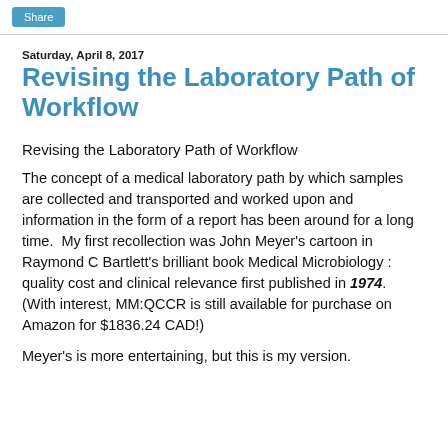Share
Saturday, April 8, 2017
Revising the Laboratory Path of Workflow
Revising the Laboratory Path of Workflow
The concept of a medical laboratory path by which samples are collected and transported and worked upon and information in the form of a report has been around for a long time.  My first recollection was John Meyer's cartoon in Raymond C Bartlett's brilliant book Medical Microbiology : quality cost and clinical relevance first published in 1974.  (With interest, MM:QCCR is still available for purchase on Amazon for $1836.24 CAD!)
Meyer's is more entertaining, but this is my version.